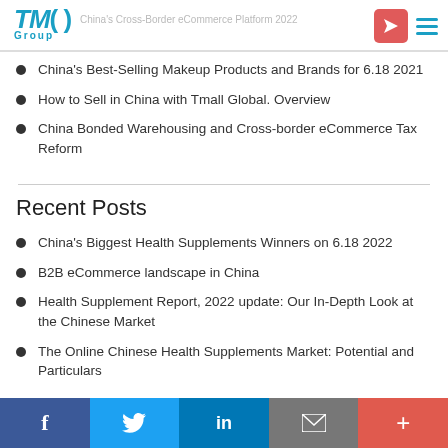TMO Group | China's Cross-Border eCommerce Platform 2022
China's Best-Selling Makeup Products and Brands for 6.18 2021
How to Sell in China with Tmall Global. Overview
China Bonded Warehousing and Cross-border eCommerce Tax Reform
Recent Posts
China's Biggest Health Supplements Winners on 6.18 2022
B2B eCommerce landscape in China
Health Supplement Report, 2022 update: Our In-Depth Look at the Chinese Market
The Online Chinese Health Supplements Market: Potential and Particulars
f  twitter  in  email  +